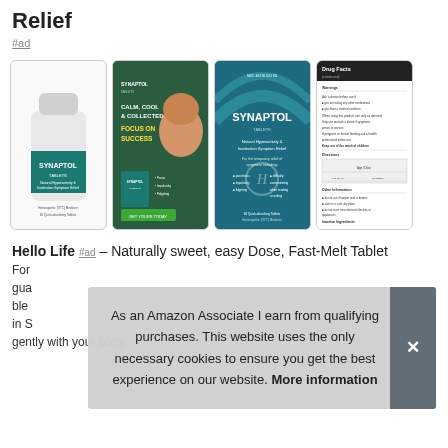Relief
#ad
[Figure (photo): Four product images of Synaptol Tablets by Hello Life: a white bottle, an advertisement showing a child with 'Calm, Cool & Collected Focus on Success', the product box (Natural Hyperactivity & Inattention Symptom Relief), and the Drug Facts side panel of the box.]
Hello Life #ad - Naturally sweet, easy Dose, Fast-Melt Tablet Form... gua... blen... in S... gently with your body.
As an Amazon Associate I earn from qualifying purchases. This website uses the only necessary cookies to ensure you get the best experience on our website. More information